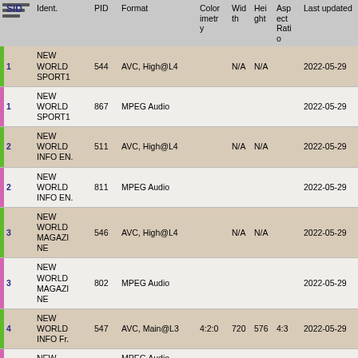|  | SID | Ident. | PID | Format | Colorimetry | Width | Height | Aspect Ratio | Last updated |
| --- | --- | --- | --- | --- | --- | --- | --- | --- | --- |
| green | 1 | NEW WORLD SPORT1 | 544 | AVC, High@L4 |  | N/A | N/A |  | 2022-05-29 |
| pink | 1 | NEW WORLD SPORT1 | 867 | MPEG Audio |  |  |  |  | 2022-05-29 |
| green | 2 | NEW WORLD INFO EN. | 511 | AVC, High@L4 |  | N/A | N/A |  | 2022-05-29 |
| pink | 2 | NEW WORLD INFO EN. | 811 | MPEG Audio |  |  |  |  | 2022-05-29 |
| green | 3 | NEW WORLD MAGAZINE | 546 | AVC, High@L4 |  | N/A | N/A |  | 2022-05-29 |
| pink | 3 | NEW WORLD MAGAZINE | 802 | MPEG Audio |  |  |  |  | 2022-05-29 |
| green | 4 | NEW WORLD INFO Fr. | 547 | AVC, Main@L3 | 4:2:0 | 720 | 576 | 4:3 | 2022-05-29 |
| pink | 4 | NEW WORLD INFO Fr. | 803 | MPEG Audio Version 1, Layer 2 | 2 channels |  |  |  | 2022-05-29 |
| green | 5 | NEW WORLD |  |  |  |  |  |  |  |